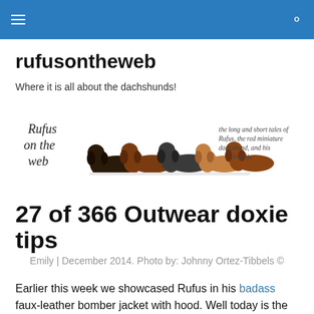rufusontheweb — navigation bar
rufusontheweb
Where it is all about the dachshunds!
[Figure (photo): Banner image showing five dachshunds lying in a row on a white background. Left side text reads 'Rufus on the web' in script font. Right side text reads 'the long and short tales of Rufus, the red miniature dachshund, and his friends.']
27 of 366 Outwear doxie tips
Emily | December 2014. Photo by: Johnny Ortez-Tibbels ©
Earlier this week we showcased Rufus in his badass faux-leather bomber jacket with hood. Well today is the girls'